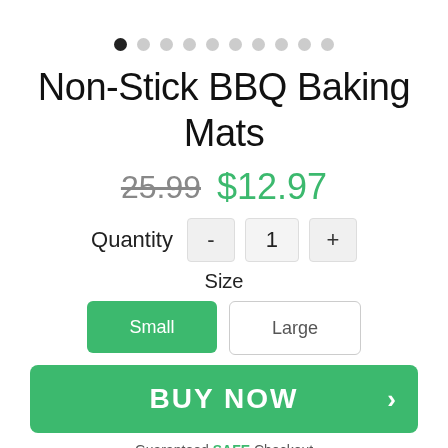[Figure (infographic): Carousel dot navigation: 10 dots, first dot filled black, rest light gray]
Non-Stick BBQ Baking Mats
25.99 $12.97
Quantity - 1 +
Size
Small  Large
BUY NOW
Guaranteed SAFE Checkout
[Figure (infographic): Payment icons: shield/checkmark, PayPal, lock, Visa, Mastercard, Discover, American Express]